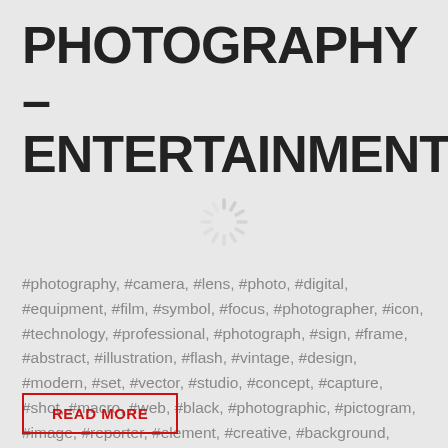PHOTOGRAPHY – ENTERTAINMENT
[Figure (other): Loading spinner / activity indicator icon, circular with radiating lines, light gray color]
#photography, #camera, #lens, #photo, #digital, #equipment, #film, #symbol, #focus, #photographer, #icon, #technology, #professional, #photograph, #sign, #frame, #abstract, #illustration, #flash, #vintage, #design, #modern, #set, #vector, #studio, #concept, #capture, #shot, #macro, #web, #black, #photographic, #pictogram, #image, #reporter, #element, #creative, #background, #tripod, #fashion, #cinema, #caucasian, #shape, #picture, #silhouette, #objective, #media, #journalist, #retro, #young, #exposure, #reflection, #collection, #zoom, #closeup,…
READ MORE